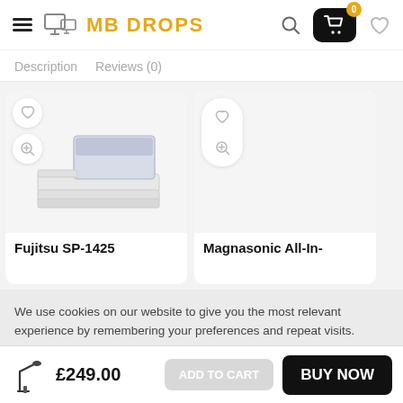MB DROPS — navigation header with hamburger, logo, search, cart (0), and wishlist icons
Description   Reviews (0)
[Figure (photo): Product card for Fujitsu SP-1425 flatbed scanner, showing scanner image with wishlist and zoom icons]
Fujitsu SP-1425
[Figure (photo): Product card for Magnasonic All-In- (truncated), empty image area with pill-shaped wishlist and zoom overlay]
Magnasonic All-In-
We use cookies on our website to give you the most relevant experience by remembering your preferences and repeat visits.
£249.00   ADD TO CART   BUY NOW